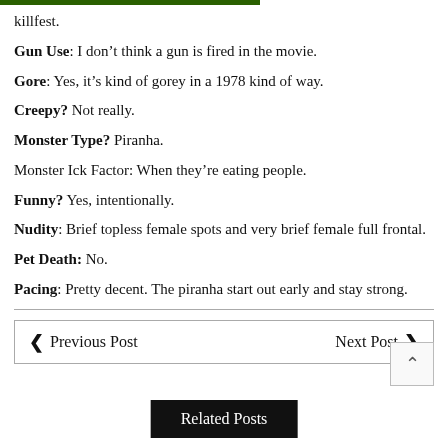killfest.
Gun Use: I don't think a gun is fired in the movie.
Gore: Yes, it's kind of gorey in a 1978 kind of way.
Creepy? Not really.
Monster Type? Piranha.
Monster Ick Factor: When they're eating people.
Funny? Yes, intentionally.
Nudity: Brief topless female spots and very brief female full frontal.
Pet Death: No.
Pacing: Pretty decent. The piranha start out early and stay strong.
Previous Post   Next Post   Related Posts